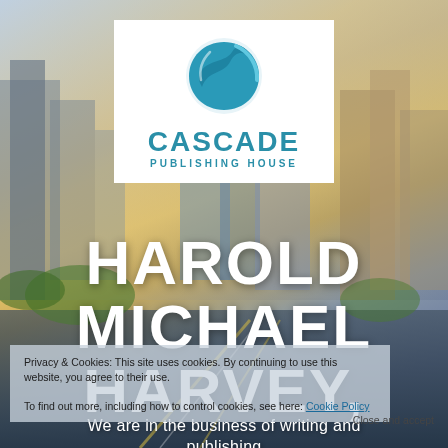[Figure (photo): Blurred city skyline background with tall buildings, warm evening light, and road with light trails]
[Figure (logo): Cascade Publishing House logo: blue circular wave icon above text 'CASCADE' in bold teal and 'PUBLISHING HOUSE' in smaller teal letters, on white background]
HAROLD MICHAEL HARVEY,
Privacy & Cookies: This site uses cookies. By continuing to use this website, you agree to their use. To find out more, including how to control cookies, see here: Cookie Policy
Close and accept
We are in the business of writing and publishing